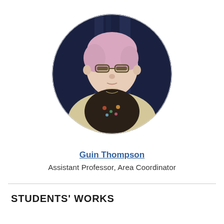[Figure (photo): Circular portrait photo of a woman with short pink hair and glasses, wearing a floral top and light cardigan, photographed against a dark navy curtain background.]
Guin Thompson
Assistant Professor, Area Coordinator
STUDENTS' WORKS